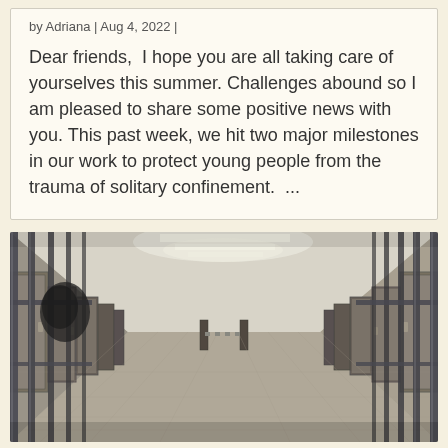by Adriana | Aug 4, 2022 |
Dear friends,  I hope you are all taking care of yourselves this summer. Challenges abound so I am pleased to share some positive news with you. This past week, we hit two major milestones in our work to protect young people from the trauma of solitary confinement.  ...
[Figure (photo): A photograph taken from behind prison bars looking down a long institutional corridor with white walls, grey doors on both sides, and fluorescent lighting on the ceiling.]